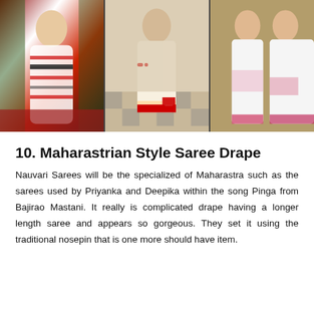[Figure (photo): Three side-by-side photos of women wearing sarees in Maharastrian/Nauvari style draping. Left photo shows a woman in a red and black striped saree with a belt. Middle photo shows a woman in a cream saree with red border. Right photo shows two women in white sarees with red/pink borders.]
10. Maharastrian Style Saree Drape
Nauvari Sarees will be the specialized of Maharastra such as the sarees used by Priyanka and Deepika within the song Pinga from Bajirao Mastani. It really is complicated drape having a longer length saree and appears so gorgeous. They set it using the traditional nosepin that is one more should have item.